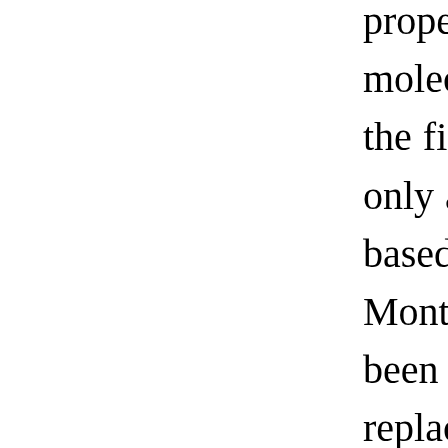properties of bulk heterojunction molecular blends are much needed in the field of organic optoelectronics. only a small subset of methods based on molecular dynamics- and Monte Carlo-based approaches have been hitherto employed to guide or replace empirical characterization and testing. Here, we present the first use of the integral equation theory of molecular liquids in modelling the structural properties of blends of phenyl-C61-butyric methyl ester (PCBM) with poly(3-hexylthiophene) (P3HT) and a carboxylated poly(3-butylthiophene)